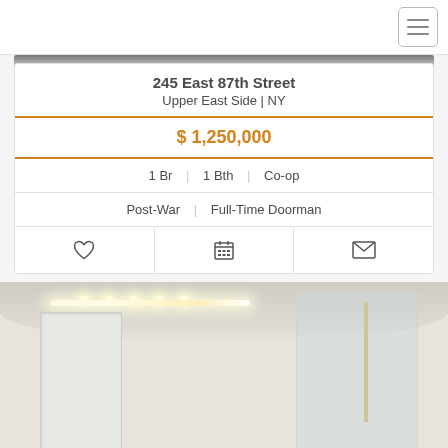[Figure (screenshot): Navigation hamburger menu icon in top-right corner]
[Figure (photo): Partial view of apartment interior photo at top]
245 East 87th Street
Upper East Side | NY
$ 1,250,000
1 Br | 1 Bth | Co-op
Post-War | Full-Time Doorman
[Figure (photo): Bathroom interior photo showing vanity lights, door, and glass shower enclosure]